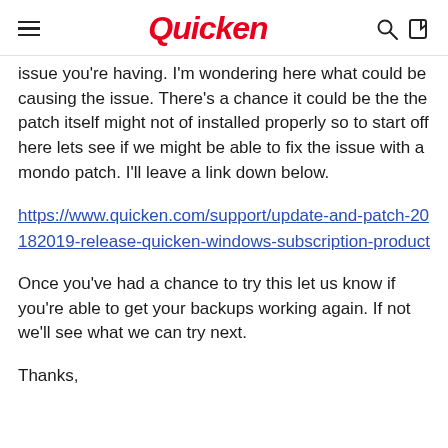Quicken
issue you're having. I'm wondering here what could be causing the issue. There's a chance it could be the the patch itself might not of installed properly so to start off here lets see if we might be able to fix the issue with a mondo patch. I'll leave a link down below.
https://www.quicken.com/support/update-and-patch-20182019-release-quicken-windows-subscription-product
Once you've had a chance to try this let us know if you're able to get your backups working again. If not we'll see what we can try next.
Thanks,